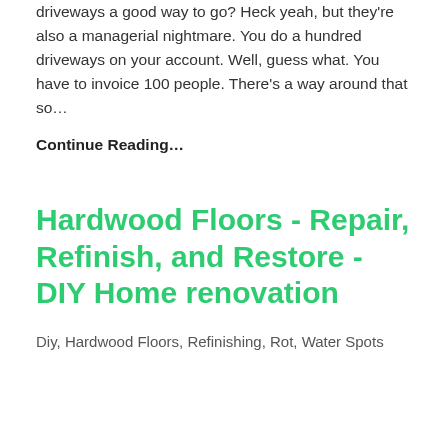driveways a good way to go? Heck yeah, but they're also a managerial nightmare. You do a hundred driveways on your account. Well, guess what. You have to invoice 100 people. There's a way around that so…
Continue Reading…
Hardwood Floors - Repair, Refinish, and Restore - DIY Home renovation
Diy, Hardwood Floors, Refinishing, Rot, Water Spots